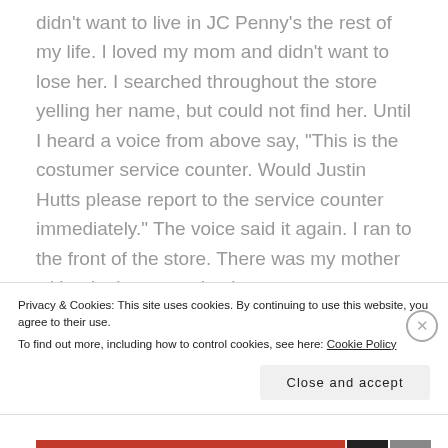didn't want to live in JC Penny's the rest of my life. I loved my mom and didn't want to lose her. I searched throughout the store yelling her name, but could not find her. Until I heard a voice from above say, “This is the costumer service counter. Would Justin Hutts please report to the service counter immediately.” The voice said it again. I ran to the front of the store. There was my mother with a look anger mixed
Privacy & Cookies: This site uses cookies. By continuing to use this website, you agree to their use.
To find out more, including how to control cookies, see here: Cookie Policy
Close and accept